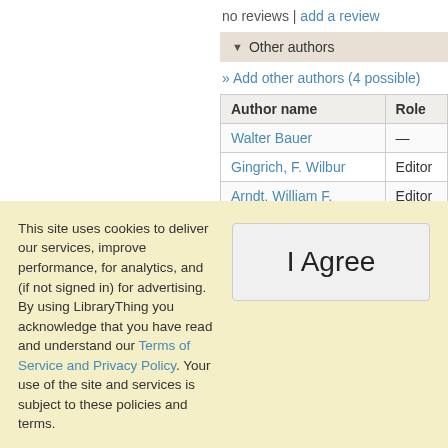no reviews | add a review
▼ Other authors
» Add other authors (4 possible)
| Author name | Role |
| --- | --- |
| Walter Bauer | — |
| Gingrich, F. Wilbur | Editor |
| Arndt, William F. | Editor |
| Danker, Frederick W. | Editor |
This site uses cookies to deliver our services, improve performance, for analytics, and (if not signed in) for advertising. By using LibraryThing you acknowledge that you have read and understand our Terms of Service and Privacy Policy. Your use of the site and services is subject to these policies and terms.